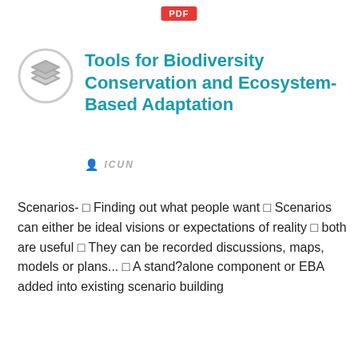[Figure (logo): Red PDF badge label]
[Figure (logo): Circular icon with stacked layers symbol in grey]
Tools for Biodiversity Conservation and Ecosystem-Based Adaptation
ICUN
Scenarios- □ Finding out what people want □ Scenarios can either be ideal visions or expectations of reality □ both are useful □ They can be recorded discussions, maps, models or plans... □ A stand?alone component or EBA added into existing scenario building